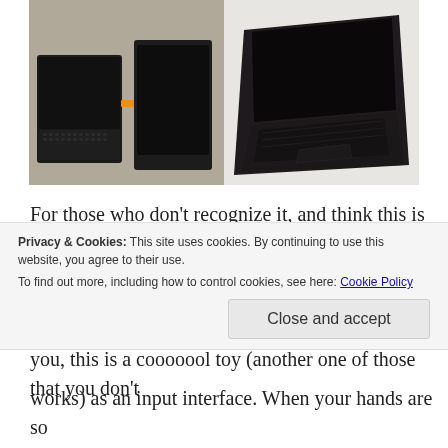[Figure (photo): Two photos of an Asus Transformer Prime tablet with keyboard docking station. Left photo shows the device from front, right photo shows it from a top-down angle on a white surface.]
For those who don't recognize it, and think this is a regular laptop or some kind of netbook, guess again. It is an Asus Transformer Prime, with an added docking station which comes with a keyboard, touchpad and battery. And let me tell you, this is a cooooool toy (another one of those that you don't understand why you didn't buy one before). The
Privacy & Cookies: This site uses cookies. By continuing to use this website, you agree to their use.
To find out more, including how to control cookies, see here: Cookie Policy
Close and accept
works) as an input interface. When your hands are so